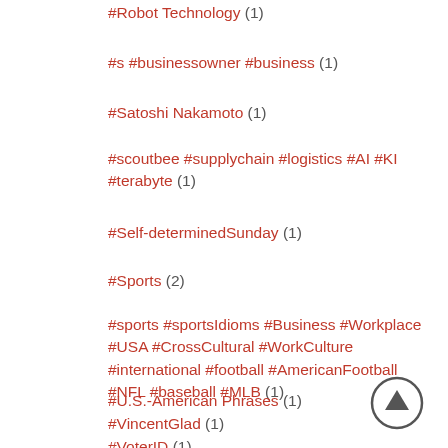#Robot Technology (1)
#s #businessowner #business (1)
#Satoshi Nakamoto (1)
#scoutbee #supplychain #logistics #AI #KI #terabyte (1)
#Self-determinedSunday (1)
#Sports (2)
#sports #sportsIdioms #Business #Workplace #USA #CrossCultural #WorkCulture #international #football #AmericanFootball #NFL #baseball #MLB (1)
#U.S.-American Phrases (1)
#VincentGlad (1)
#VoterID (1)